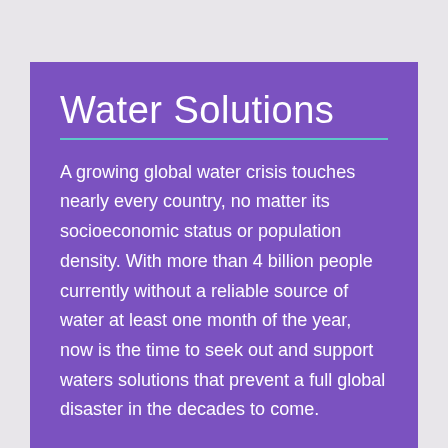Water Solutions
A growing global water crisis touches nearly every country, no matter its socioeconomic status or population density. With more than 4 billion people currently without a reliable source of water at least one month of the year, now is the time to seek out and support waters solutions that prevent a full global disaster in the decades to come.